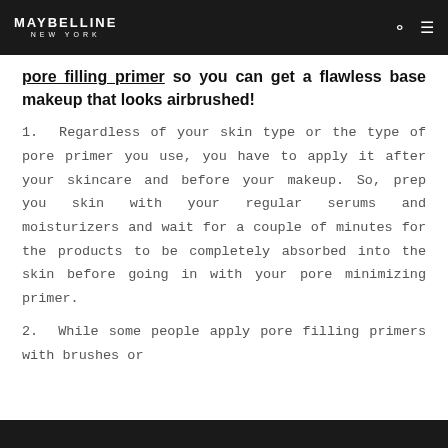MAYBELLINE NEW YORK
pore filling primer so you can get a flawless base makeup that looks airbrushed!
1. Regardless of your skin type or the type of pore primer you use, you have to apply it after your skincare and before your makeup. So, prep you skin with your regular serums and moisturizers and wait for a couple of minutes for the products to be completely absorbed into the skin before going in with your pore minimizing primer.
2. While some people apply pore filling primers with brushes or